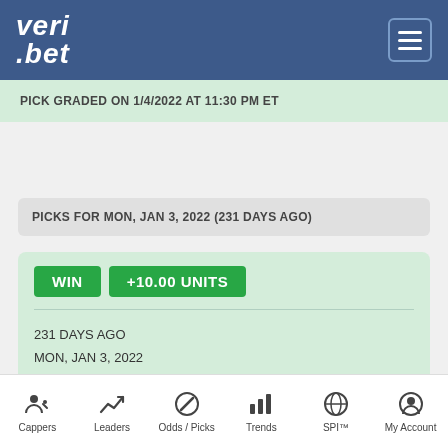veri.bet
PICK GRADED ON 1/4/2022 AT 11:30 PM ET
PICKS FOR MON, JAN 3, 2022 (231 DAYS AGO)
WIN  +10.00 UNITS
231 DAYS AGO
MON, JAN 3, 2022
7:00 PM ET
LEAGUE: NCAAB
Cappers | Leaders | Odds / Picks | Trends | SPI™ | My Account